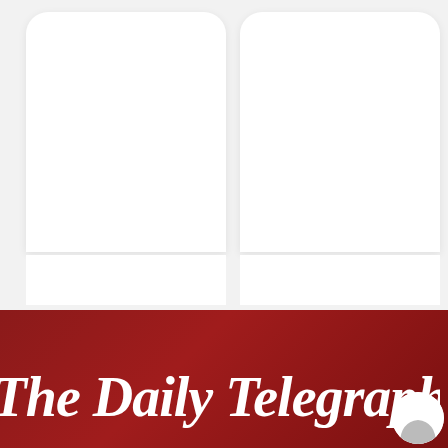[Figure (logo): The Daily Telegraph newspaper logo on a dark red/crimson background with decorative blackletter typography. Above the logo area are two white card-like rectangular elements with rounded tops on a light grey background.]
The Daily Telegraph